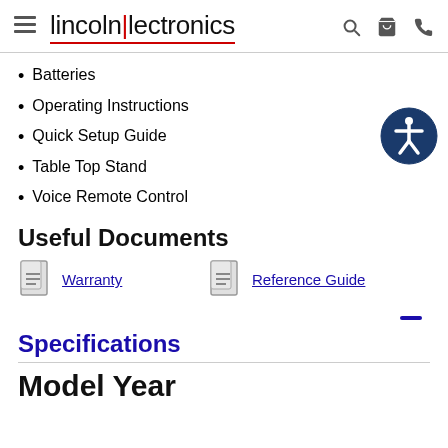lincolnlectronics
Batteries
Operating Instructions
Quick Setup Guide
Table Top Stand
Voice Remote Control
Useful Documents
Warranty | Reference Guide
Specifications
Model Year